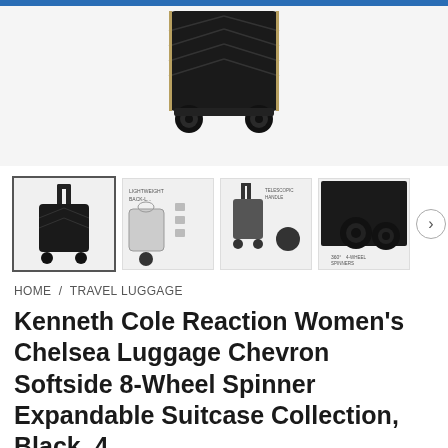[Figure (photo): Main product image showing bottom portion of a black Kenneth Cole Reaction Chelsea luggage suitcase with spinner wheels on a light background]
[Figure (photo): Thumbnail gallery of Kenneth Cole Reaction Chelsea luggage showing: (1) black suitcase with handle extended, (2) product features infographic with bag and icons, (3) suitcase with telescopic handle label, (4) close-up of 360-degree spinner wheels]
HOME / TRAVEL LUGGAGE
Kenneth Cole Reaction Women's Chelsea Luggage Chevron Softside 8-Wheel Spinner Expandable Suitcase Collection, Black, 4...